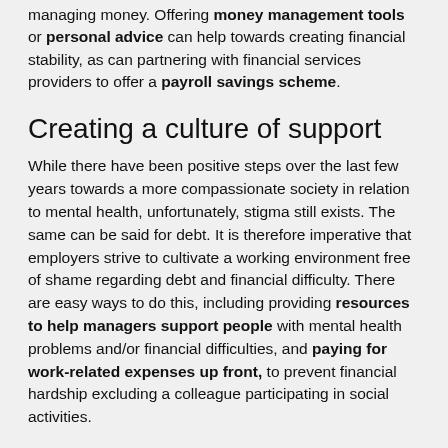managing money. Offering money management tools or personal advice can help towards creating financial stability, as can partnering with financial services providers to offer a payroll savings scheme.
Creating a culture of support
While there have been positive steps over the last few years towards a more compassionate society in relation to mental health, unfortunately, stigma still exists. The same can be said for debt. It is therefore imperative that employers strive to cultivate a working environment free of shame regarding debt and financial difficulty. There are easy ways to do this, including providing resources to help managers support people with mental health problems and/or financial difficulties, and paying for work-related expenses up front, to prevent financial hardship excluding a colleague participating in social activities.